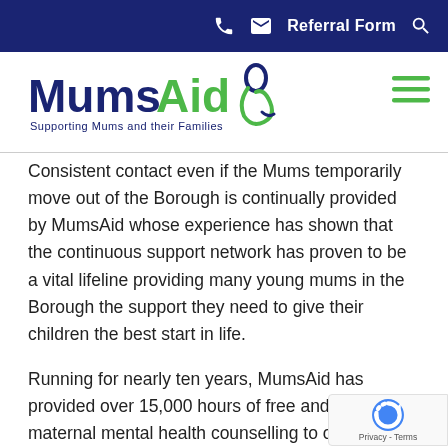Referral Form
[Figure (logo): MumsAid logo with tagline 'Supporting Mums and their Families' and a decorative ampersand figure in blue and green]
Consistent contact even if the Mums temporarily move out of the Borough is continually provided by MumsAid whose experience has shown that the continuous support network has proven to be a vital lifeline providing many young mums in the Borough the support they need to give their children the best start in life.
Running for nearly ten years, MumsAid has provided over 15,000 hours of free and low-cost maternal mental health counselling to over 2,000 South East London Mums and trained over 50 specialist, perinatal counsellors using MumsAid's model of care developed by Miria Donaghy who is publishing her PHD on the